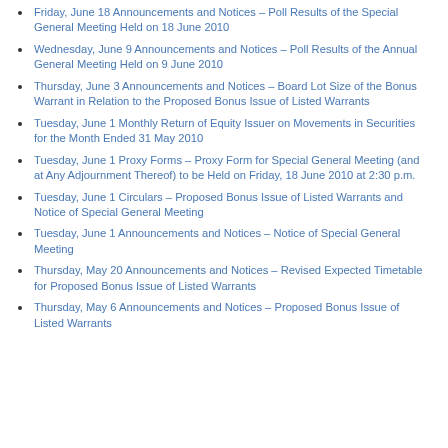Friday, June 18 Announcements and Notices – Poll Results of the Special General Meeting Held on 18 June 2010
Wednesday, June 9 Announcements and Notices – Poll Results of the Annual General Meeting Held on 9 June 2010
Thursday, June 3 Announcements and Notices – Board Lot Size of the Bonus Warrant in Relation to the Proposed Bonus Issue of Listed Warrants
Tuesday, June 1 Monthly Return of Equity Issuer on Movements in Securities for the Month Ended 31 May 2010
Tuesday, June 1 Proxy Forms – Proxy Form for Special General Meeting (and at Any Adjournment Thereof) to be Held on Friday, 18 June 2010 at 2:30 p.m.
Tuesday, June 1 Circulars – Proposed Bonus Issue of Listed Warrants and Notice of Special General Meeting
Tuesday, June 1 Announcements and Notices – Notice of Special General Meeting
Thursday, May 20 Announcements and Notices – Revised Expected Timetable for Proposed Bonus Issue of Listed Warrants
Thursday, May 6 Announcements and Notices – Proposed Bonus Issue of Listed Warrants